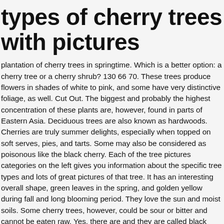types of cherry trees with pictures
plantation of cherry trees in springtime. Which is a better option: a cherry tree or a cherry shrub? 130 66 70. These trees produce flowers in shades of white to pink, and some have very distinctive foliage, as well. Cut Out. The biggest and probably the highest concentration of these plants are, however, found in parts of Eastern Asia. Deciduous trees are also known as hardwoods. Cherries are truly summer delights, especially when topped on soft serves, pies, and tarts. Some may also be considered as poisonous like the black cherry. Each of the tree pictures categories on the left gives you information about the specific tree types and lots of great pictures of that tree. It has an interesting overall shape, green leaves in the spring, and golden yellow during fall and long blooming period. They love the sun and moist soils. Some cherry trees, however, could be sour or bitter and cannot be eaten raw. Yes, there are and they are called black cherries or wild cherries. There are dozens of species of cherry tree but four are most common. To view each tree image in full size, just click on the photo you like, to enlarge the tree picture.. The variety is believed to be developed during the trials